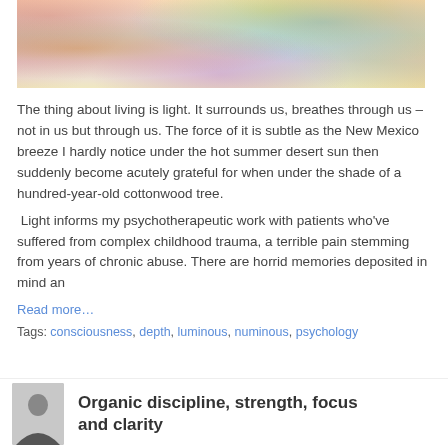[Figure (photo): Abstract colorful artwork with swirling light patterns in oranges, blues, purples, yellows and greens]
The thing about living is light. It surrounds us, breathes through us – not in us but through us. The force of it is subtle as the New Mexico breeze I hardly notice under the hot summer desert sun then suddenly become acutely grateful for when under the shade of a hundred-year-old cottonwood tree.
Light informs my psychotherapeutic work with patients who've suffered from complex childhood trauma, a terrible pain stemming from years of chronic abuse. There are horrid memories deposited in mind an
Read more...
Tags: consciousness, depth, luminous, numinous, psychology
Organic discipline, strength, focus and clarity